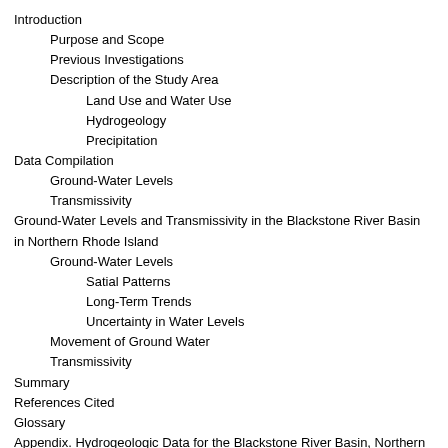Introduction
Purpose and Scope
Previous Investigations
Description of the Study Area
Land Use and Water Use
Hydrogeology
Precipitation
Data Compilation
Ground-Water Levels
Transmissivity
Ground-Water Levels and Transmissivity in the Blackstone River Basin in Northern Rhode Island
Ground-Water Levels
Satial Patterns
Long-Term Trends
Uncertainty in Water Levels
Movement of Ground Water
Transmissivity
Summary
References Cited
Glossary
Appendix. Hydrogeologic Data for the Blackstone River Basin, Northern Rhode Island
Plates
1. Water-table altitudes in the Blackstone River Basin, northern Rhode Island
2. Aquifer transmissivity in the Blackstone River Basin, northern Rhode Island